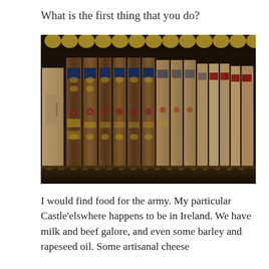What is the first thing that you do?
[Figure (photo): A row of antique leather-bound books on a dark wooden shelf, with ornate gilded spines, seen from an angle. The books have decorative embossed covers and colored title labels on their spines.]
I would find food for the army. My particular Castle’elsewhere happens to be in Ireland. We have milk and beef galore, and even some barley and rapeseed oil. Some artisanal cheese